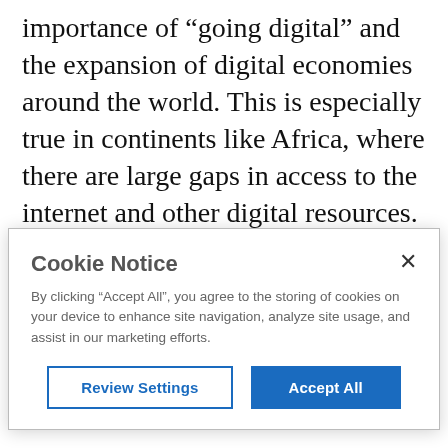importance of “going digital” and the expansion of digital economies around the world. This is especially true in continents like Africa, where there are large gaps in access to the internet and other digital resources. Improving digital equality through collaboration and strategic partnerships in Africa can open the door to a wealth of opportunities,
[Figure (screenshot): Cookie Notice dialog box with title 'Cookie Notice', close button (×), body text about accepting cookies, and two buttons: 'Review Settings' (outlined) and 'Accept All' (filled blue).]